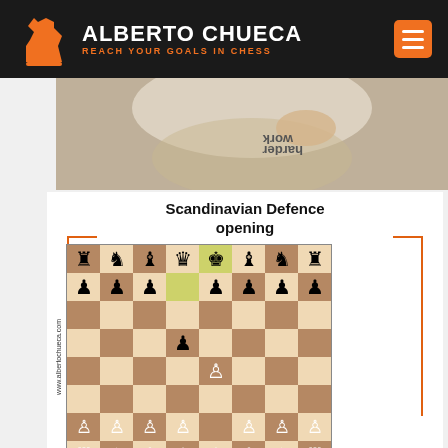ALBERTO CHUECA — REACH YOUR GOALS IN CHESS
[Figure (photo): Person in white t-shirt with text, photo cropped, background blurred]
[Figure (schematic): Scandinavian Defence opening chess board diagram with pieces positioned after 1.e4 d5 2.exd5]
Scandinavian Defence opening
www.albertochueca.com